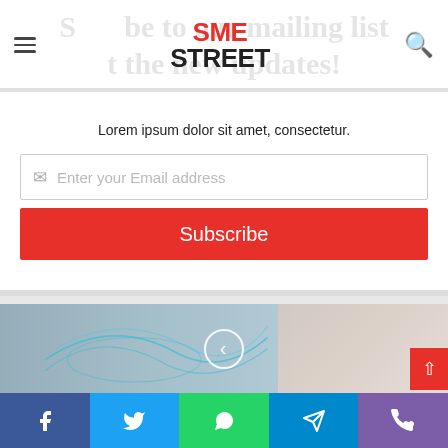SME STREET
Subscribe to our mailing list to get the new updates!
Lorem ipsum dolor sit amet, consectetur.
[Figure (screenshot): Email subscription form with email input field and red Subscribe button]
[Figure (photo): Healthcare professionals group photo with digital network overlay and a woman using a tablet on the right, with a left navigation arrow]
[Figure (infographic): Social media sharing bar with Facebook, Twitter, WhatsApp, Telegram, and Phone icons]